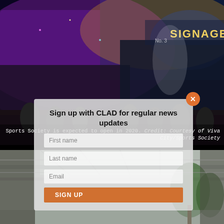[Figure (photo): Rendering of Sports Society stadium exterior at night with colorful LED signage and crowd of people outside]
Sports Society is expected to open in 2020. Credit: Courtesy of Viva City/Sports Society
Sign up with CLAD for regular news updates
[Figure (photo): Interior rendering of Sports Society venue showing open atrium with trees and glass roof]
First name
Last name
Email
SIGN UP